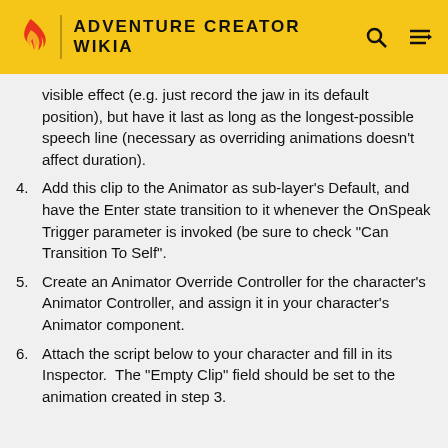ADVENTURE CREATOR WIKIA
visible effect (e.g. just record the jaw in its default position), but have it last as long as the longest-possible speech line (necessary as overriding animations doesn't affect duration).
4. Add this clip to the Animator as sub-layer's Default, and have the Enter state transition to it whenever the OnSpeak Trigger parameter is invoked (be sure to check "Can Transition To Self".
5. Create an Animator Override Controller for the character's Animator Controller, and assign it in your character's Animator component.
6. Attach the script below to your character and fill in its Inspector.  The "Empty Clip" field should be set to the animation created in step 3.